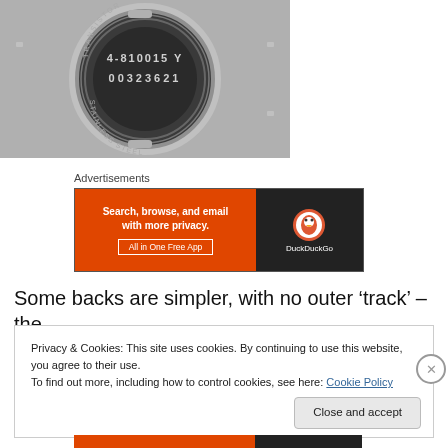[Figure (photo): Close-up of a watch case back engraved with '4-810015 Y' and '00323621', with 'TRANSISTOR' and 'STAINLESS STEEL' text around the edge. The case back is circular, silver and dark metallic.]
Advertisements
[Figure (screenshot): DuckDuckGo advertisement banner. Left side is orange with bold white text 'Search, browse, and email with more privacy. All in One Free App'. Right side is black with the DuckDuckGo logo and name.]
Some backs are simpler, with no outer ‘track’ – the
Privacy & Cookies: This site uses cookies. By continuing to use this website, you agree to their use.
To find out more, including how to control cookies, see here: Cookie Policy
Close and accept